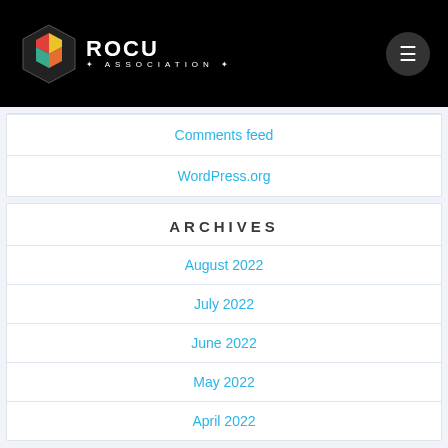ROCU Association
Comments feed
WordPress.org
ARCHIVES
August 2022
July 2022
June 2022
May 2022
April 2022